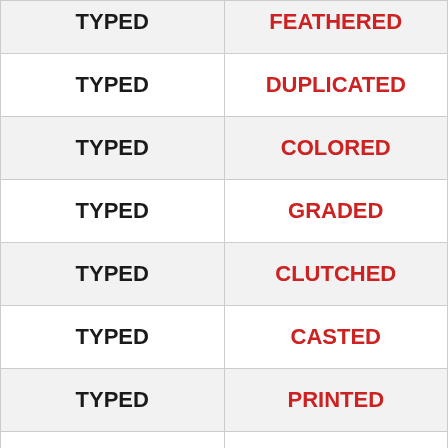| TYPED | FEATHERED |
| --- | --- |
| TYPED | DUPLICATED |
| TYPED | COLORED |
| TYPED | GRADED |
| TYPED | CLUTCHED |
| TYPED | CASTED |
| TYPED | PRINTED |
| TYPED | BUILT |
| TYPED | AVERAGED |
| TYPED | BRANDED |